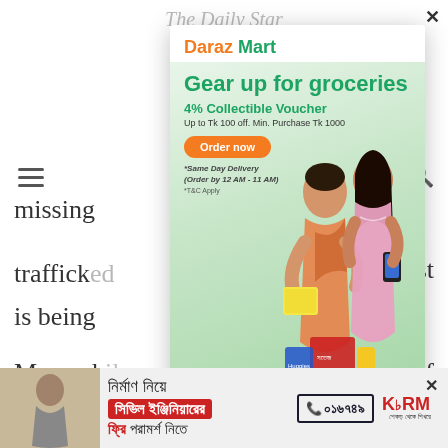The Daily Star
missing
trafficked ... the list is being
Meanwhile ... ector of NHRC w... ld verify w... icking victims.
[Figure (screenshot): Daraz Mart popup advertisement. Shows 'Daraz Mart' logo with orange 'Daraz' and green 'Mart'. Headline: 'Gear up for groceries'. Subheadline: '4% Collectible Voucher'. Offer text: 'Up to Tk 100 off. Min. Purchase Tk 1000'. Orange 'Order now' button. '*Same Day Delivery (Order by 12 AM - 11 AM)' and '*T&C Apply'. Two women looking at phone with grocery products.]
[Figure (screenshot): KSRM bottom banner ad in Bengali. Text: 'নির্মাণ নিয়ে', 'সিভিল ইঞ্জিনিয়ারের', 'ফ্রি পরামর্শ নিতে'. Phone number: ০১৬৭৪৯. KSRM logo with tagline 'শেকড় থেকে শিখরে'.]